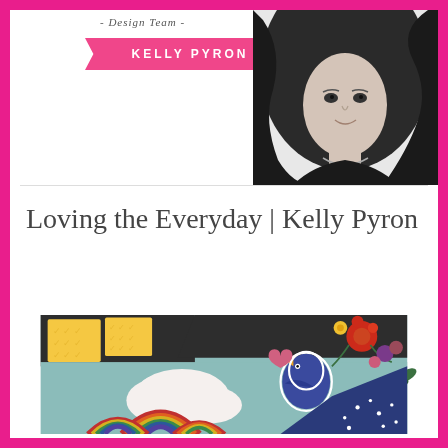- Design Team -
KELLY PYRON
[Figure (photo): Black and white portrait photo of Kelly Pyron, a woman with long wavy hair wearing a necklace]
Loving the Everyday | Kelly Pyron
[Figure (photo): Colorful craft scrapbooking layout featuring rainbows, clouds, a bird, flowers, and patterned papers in teal, yellow, navy, and multicolored designs]